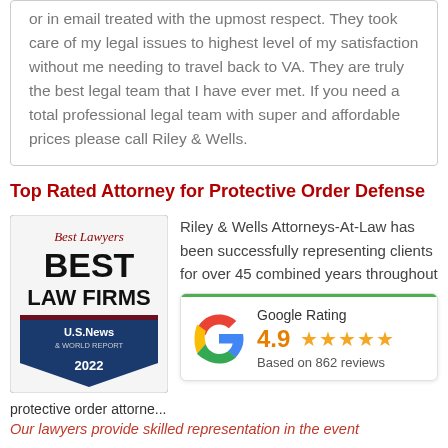or in email treated with the upmost respect. They took care of my legal issues to highest level of my satisfaction without me needing to travel back to VA. They are truly the best legal team that I have ever met. If you need a total professional legal team with super and affordable prices please call Riley & Wells.
Top Rated Attorney for Protective Order Defense
[Figure (logo): Best Lawyers Best Law Firms U.S. News 2022 badge]
Riley & Wells Attorneys-At-Law has been successfully representing clients for over 45 combined years throughout
[Figure (infographic): Google Rating card showing 4.9 stars based on 862 reviews]
protective order attorne...
Our lawyers provide skilled representation in the event